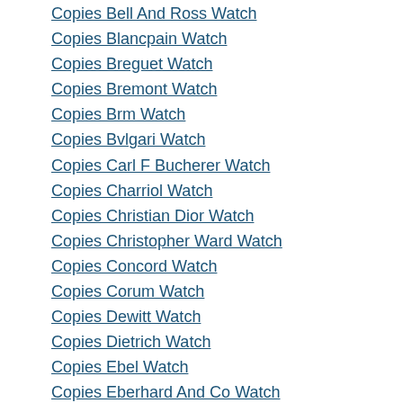Copies Bell And Ross Watch
Copies Blancpain Watch
Copies Breguet Watch
Copies Bremont Watch
Copies Brm Watch
Copies Bvlgari Watch
Copies Carl F Bucherer Watch
Copies Charriol Watch
Copies Christian Dior Watch
Copies Christopher Ward Watch
Copies Concord Watch
Copies Corum Watch
Copies Dewitt Watch
Copies Dietrich Watch
Copies Ebel Watch
Copies Eberhard And Co Watch
Copies Fendi Watch
Copies Fortis Watch